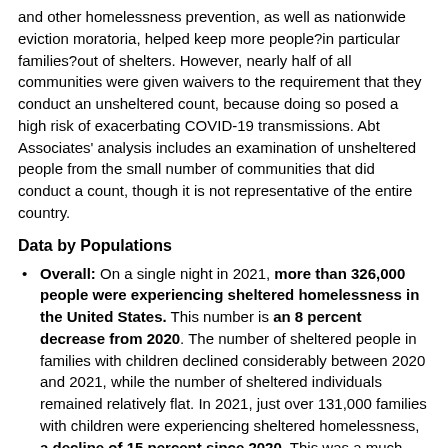and other homelessness prevention, as well as nationwide eviction moratoria, helped keep more people?in particular families?out of shelters. However, nearly half of all communities were given waivers to the requirement that they conduct an unsheltered count, because doing so posed a high risk of exacerbating COVID-19 transmissions. Abt Associates' analysis includes an examination of unsheltered people from the small number of communities that did conduct a count, though it is not representative of the entire country.
Data by Populations
Overall: On a single night in 2021, more than 326,000 people were experiencing sheltered homelessness in the United States. This number is an 8 percent decrease from 2020. The number of sheltered people in families with children declined considerably between 2020 and 2021, while the number of sheltered individuals remained relatively flat. In 2021, just over 131,000 families with children were experiencing sheltered homelessness, a decline of 15 percent since 2020. This was a much larger change than in the number of sheltered individuals, which dropped by only 2 percent, to 236,500 people in 2021. The declines are likely due to a combination of several factors, and the trends in sheltered homelessness should be viewed with